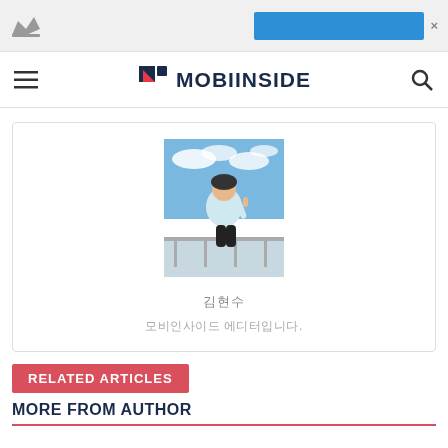MOBIINSIDE
[Figure (photo): Author profile photo: person standing outdoors on a rooftop or terrace with blue sky and clouds, wearing a light blue hoodie, giving a thumbs up]
김현수
모비인사이드 에디터입니다.
RELATED ARTICLES
MORE FROM AUTHOR